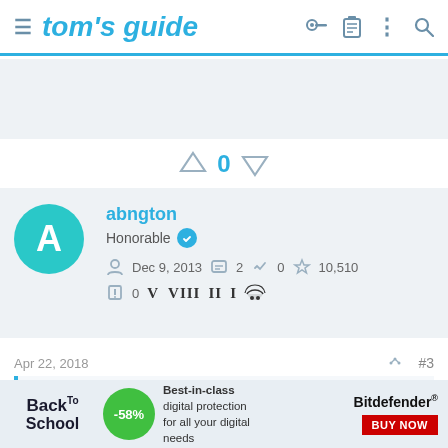tom's guide
[Figure (other): Advertisement banner area (light gray background)]
↑ 0 ↓
[Figure (other): User profile card for abngton, Honorable member. Joined Dec 9, 2013. Messages: 2, Likes: 0, Points: 10,510. Reports: 0. Level badges: V VIII II I and a hand/give icon.]
Apr 22, 2018    #3
kintarusk :